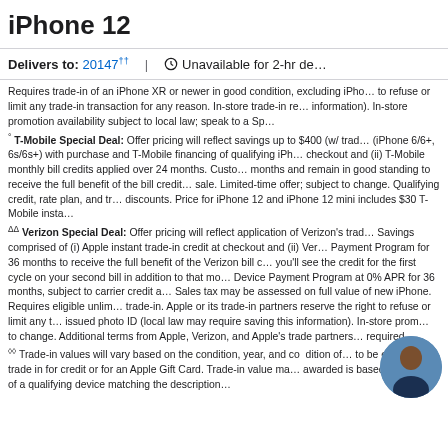iPhone 12
Delivers to: 20147†† Unavailable for 2-hr de…
Requires trade-in of an iPhone XR or newer in good condition, excluding iPho… to refuse or limit any trade-in transaction for any reason. In-store trade-in re… information). In-store promotion availability subject to local law; speak to a Sp…
° T-Mobile Special Deal: Offer pricing will reflect savings up to $400 (w/ trad… (iPhone 6/6+, 6s/6s+) with purchase and T-Mobile financing of qualifying iPh… checkout and (ii) T-Mobile monthly bill credits applied over 24 months. Custo… months and remain in good standing to receive the full benefit of the bill credit… sale. Limited-time offer; subject to change. Qualifying credit, rate plan, and tr… discounts. Price for iPhone 12 and iPhone 12 mini includes $30 T-Mobile insta…
ΔΔ Verizon Special Deal: Offer pricing will reflect application of Verizon's trad… Savings comprised of (i) Apple instant trade-in credit at checkout and (ii) Ver… Payment Program for 36 months to receive the full benefit of the Verizon bill c… you'll see the credit for the first cycle on your second bill in addition to that mo… Device Payment Program at 0% APR for 36 months, subject to carrier credit a… Sales tax may be assessed on full value of new iPhone. Requires eligible unlim… trade-in. Apple or its trade-in partners reserve the right to refuse or limit any t… issued photo ID (local law may require saving this information). In-store prom… to change. Additional terms from Apple, Verizon, and Apple's trade partners… required.
◊◊ Trade-in values will vary based on the condition, year, and condition of… to be eligible to trade in for credit or for an Apple Gift Card. Trade-in value ma… awarded is based on receipt of a qualifying device matching the description…